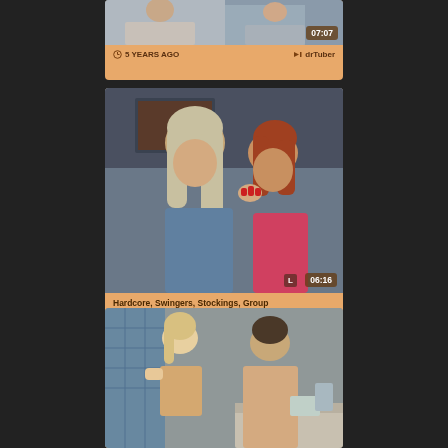[Figure (screenshot): Video thumbnail card (partial top) showing people, duration 07:07]
5 YEARS AGO   drTuber
[Figure (screenshot): Video thumbnail showing two women, duration 06:16]
Hardcore, Swingers, Stockings, Group
3 YEARS AGO   NuVid
[Figure (screenshot): Video thumbnail (partial bottom) showing couple, partially visible]